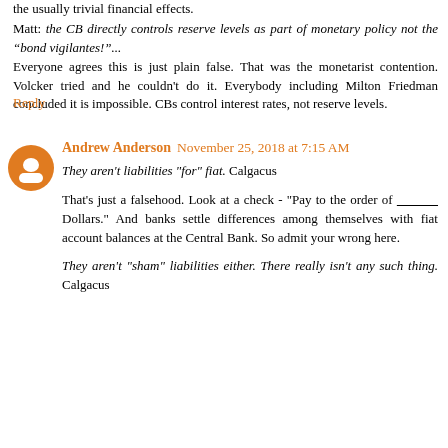the usually trivial financial effects.
Matt: the CB directly controls reserve levels as part of monetary policy not the “bond vigilantes!”... Everyone agrees this is just plain false. That was the monetarist contention. Volcker tried and he couldn’t do it. Everybody including Milton Friedman concluded it is impossible. CBs control interest rates, not reserve levels.
Reply
Andrew Anderson   November 25, 2018 at 7:15 AM
They aren’t liabilities “for” fiat. Calgacus
That’s just a falsehood. Look at a check - “Pay to the order of __________ Dollars.” And banks settle differences among themselves with fiat account balances at the Central Bank. So admit your wrong here.
They aren’t “sham” liabilities either. There really isn’t any such thing. Calgacus